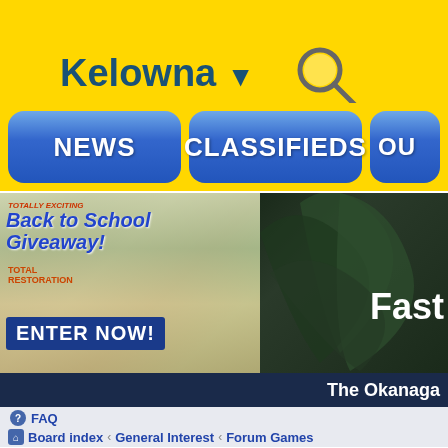Kelowna ▼
[Figure (screenshot): Navigation buttons: NEWS, CLASSIFIEDS, OU(tside) on yellow background]
[Figure (photo): Back to School Giveaway banner – ENTER NOW! on left, cannabis leaf image with 'Fast' text on right]
The Okanaga
FAQ
Board index › General Interest › Forum Games
The Song Game